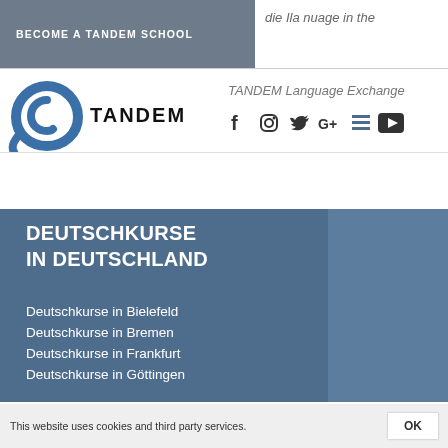BECOME A TANDEM SCHOOL
die Ila nuage in the
[Figure (logo): TANDEM logo: blue spiral/snail symbol with TANDEM text in bold]
TANDEM Language Exchange
[Figure (infographic): Social media icons: Facebook, Instagram, Twitter, Google+, YouTube, Menu]
DEUTSCHKURSE IN DEUTSCHLAND
Deutschkurse in Bielefeld
Deutschkurse in Bremen
Deutschkurse in Frankfurt
Deutschkurse in Göttingen
This website uses cookies and third party services.
OK